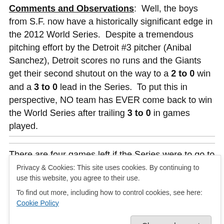Comments and Observations: Well, the boys from S.F. now have a historically significant edge in the 2012 World Series. Despite a tremendous pitching effort by the Detroit #3 pitcher (Anibal Sanchez), Detroit scores no runs and the Giants get their second shutout on the way to a 2 to 0 win and a 3 to 0 lead in the Series. To put this in perspective, NO team has EVER come back to win the World Series after trailing 3 to 0 in games played.
There are four games left if the Series were to go to the
magnitude, while not impossible, is extremely
[Figure (screenshot): Cookie consent overlay: 'Privacy & Cookies: This site uses cookies. By continuing to use this website, you agree to their use. To find out more, including how to control cookies, see here: Cookie Policy' with a 'Close and accept' button.]